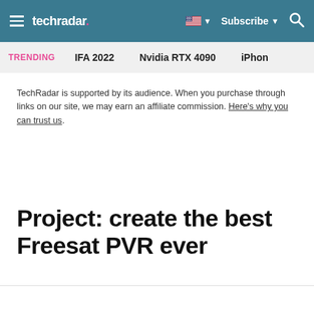techradar · Subscribe
TRENDING  IFA 2022  Nvidia RTX 4090  iPhon
TechRadar is supported by its audience. When you purchase through links on our site, we may earn an affiliate commission. Here's why you can trust us.
Project: create the best Freesat PVR ever